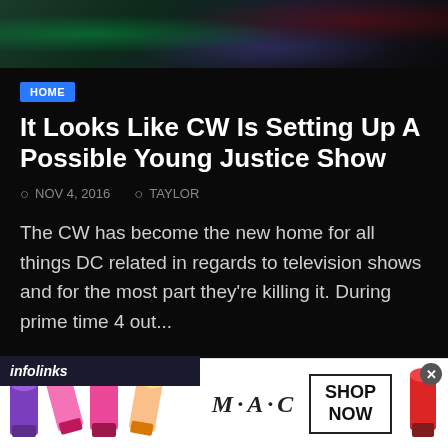[Figure (screenshot): Hero image from animated show, dark background with colorful character silhouettes]
HOME
It Looks Like CW Is Setting Up A Possible Young Justice Show
NOV 4, 2016   TAYLOR
The CW has become the new home for all things DC related in regards to television shows and for the most part they're killing it. During prime time 4 out...
[Figure (infographic): Infolinks ad bar label]
[Figure (photo): MAC cosmetics advertisement banner showing lipsticks and SHOP NOW text]